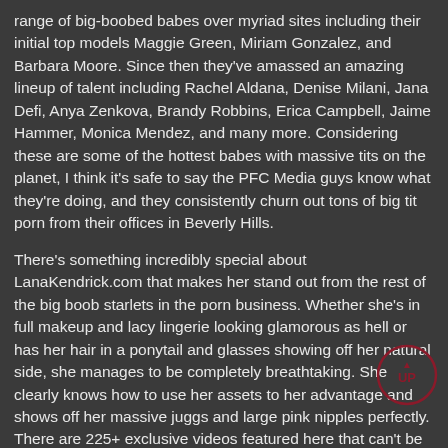range of big-boobed babes over myriad sites including their initial top models Maggie Green, Miriam Gonzalez, and Barbara Moore. Since then they've amassed an amazing lineup of talent including Rachel Aldana, Denise Milani, Jana Defi, Anya Zenkova, Brandy Robbins, Erica Campbell, Jaime Hammer, Monica Mendez, and many more. Considering these are some of the hottest babes with massive tits on the planet, I think it's safe to say the PFC Media guys know what they're doing, and they consistently churn out tons of big tit porn from their offices in Beverly Hills.
There's something incredibly special about LanaKendrick.com that makes her stand out from the rest of the big boob starlets in the porn business. Whether she's in full makeup and lacy lingerie looking glamorous as hell or has her hair in a ponytail and glasses showing off her natural side, she manages to be completely breathtaking. She clearly knows how to use her assets to her advantage and shows off her massive juggs and large pink nipples perfectly. There are 225+ exclusive videos featured here that can't be seen anywhere else. LanaKendrick.com is also continually updated with HD quality releases every week. Additionally, there are also accompanying photo sets to allow viewers to take their time and truly appreciate every curve on this busty babe.
All videos can be downloaded or streamed online using their fast
[Figure (logo): Circular logo with text 'UP' and an upward arrow, dark red/maroon color on dark background, bottom right corner]